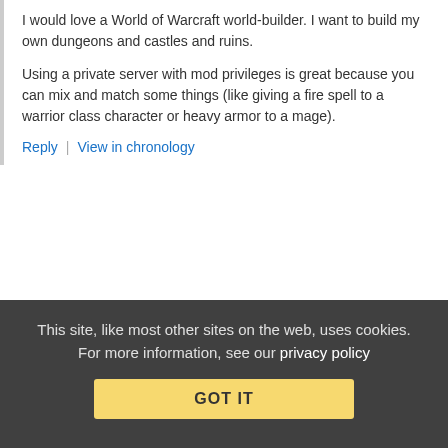I would love a World of Warcraft world-builder. I want to build my own dungeons and castles and ruins.
Using a private server with mod privileges is great because you can mix and match some things (like giving a fire spell to a warrior class character or heavy armor to a mage).
Reply | View in chronology
[Figure (infographic): Row of 5 action icons: lightbulb, laughing emoji, opening quote bubble, closing quote bubble, flag]
[3]
Anonymous Coward   July 29, 2019 at 3:52 pm
This site, like most other sites on the web, uses cookies. For more information, see our privacy policy
GOT IT